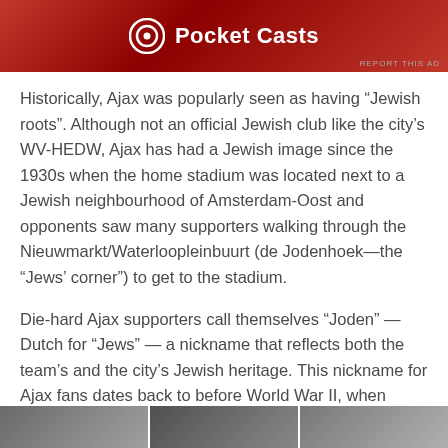[Figure (logo): Pocket Casts advertisement banner with red gradient background, Pocket Casts logo icon and text in white]
Historically, Ajax was popularly seen as having “Jewish roots”. Although not an official Jewish club like the city’s WV-HEDW, Ajax has had a Jewish image since the 1930s when the home stadium was located next to a Jewish neighbourhood of Amsterdam-Oost and opponents saw many supporters walking through the Nieuwmarkt/Waterloopleinbuurt (de Jodenhoek—the “Jews’ corner”) to get to the stadium.
Die-hard Ajax supporters call themselves “Joden” — Dutch for “Jews” — a nickname that reflects both the team’s and the city’s Jewish heritage. This nickname for Ajax fans dates back to before World War II, when Amsterdam was home to most of the Netherlands’ 140,000 Jews.
[Figure (photo): Bottom strip showing partial thumbnail images]